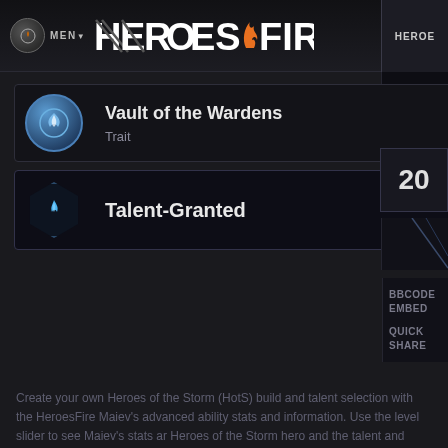HEROES FIRE — HEROE
[Figure (screenshot): Vault of the Wardens ability card with circular icon showing blue-white swirl, labeled Trait with Cooldown: 13s and [+] button]
[Figure (screenshot): Talent-Granted ability card with hexagonal blue flame icon on dark background]
20
BBCODE EMBED
QUICK SHARE
Create your own Heroes of the Storm (HotS) build and talent selection with the HeroesFire Maiev's advanced ability stats and information. Use the level slider to see Maiev's stats ar Heroes of the Storm hero and the talent and ability details are updated every patch.